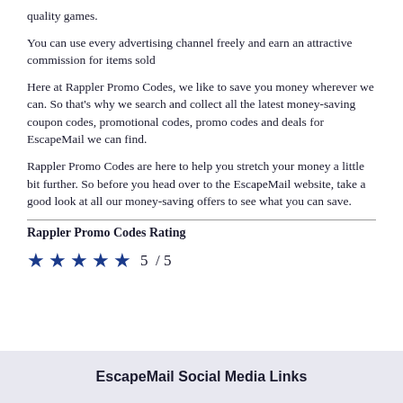quality games.
You can use every advertising channel freely and earn an attractive commission for items sold
Here at Rappler Promo Codes, we like to save you money wherever we can. So that's why we search and collect all the latest money-saving coupon codes, promotional codes, promo codes and deals for EscapeMail we can find.
Rappler Promo Codes are here to help you stretch your money a little bit further. So before you head over to the EscapeMail website, take a good look at all our money-saving offers to see what you can save.
Rappler Promo Codes Rating
★★★★★  5  / 5
EscapeMail Social Media Links